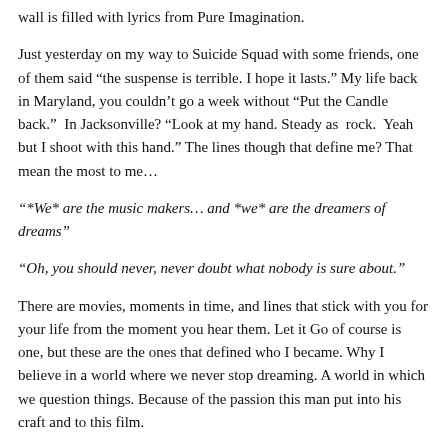wall is filled with lyrics from Pure Imagination.
Just yesterday on my way to Suicide Squad with some friends, one of them said “the suspense is terrible. I hope it lasts.” My life back in Maryland, you couldn’t go a week without “Put the Candle back.”  In Jacksonville? “Look at my hand. Steady as  rock.  Yeah but I shoot with this hand.” The lines though that define me? That mean the most to me…
“*We* are the music makers… and *we* are the dreamers of dreams”
“Oh, you should never, never doubt what nobody is sure about.”
There are movies, moments in time, and lines that stick with you for your life from the moment you hear them. Let it Go of course is one, but these are the ones that defined who I became. Why I believe in a world where we never stop dreaming. A world in which we question things. Because of the passion this man put into his craft and to this film.